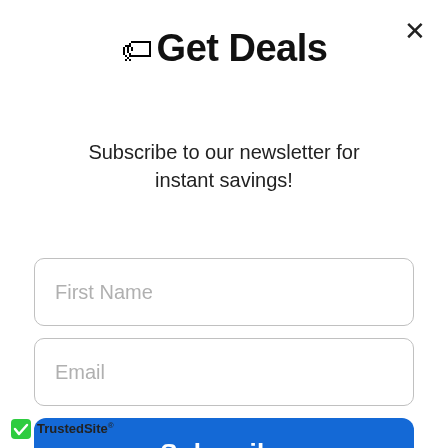🏷 Get Deals
Subscribe to our newsletter for instant savings!
First Name
Email
Subscribe
[Figure (logo): TrustedSite badge with green checkmark shield icon]
TrustedSite